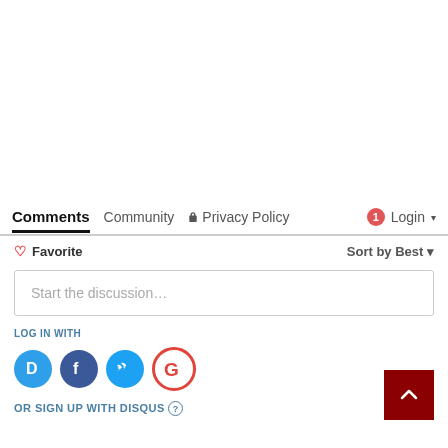Comments  Community  🔒 Privacy Policy  🔴1  Login ▾
♡ Favorite    Sort by Best ▾
Start the discussion…
LOG IN WITH
[Figure (illustration): Four social login icons: Disqus (D, blue circle), Facebook (f, dark blue circle), Twitter (bird, light blue circle), Google (G, red-bordered white circle)]
OR SIGN UP WITH DISQUS ?
[Figure (illustration): Back to top button — dark red square with white up-arrow chevron]